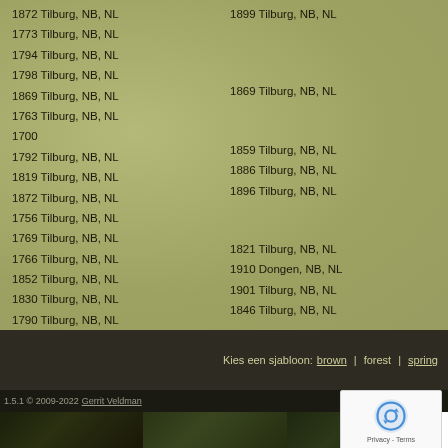1872 Tilburg, NB, NL
1773 Tilburg, NB, NL
1794 Tilburg, NB, NL
1798 Tilburg, NB, NL
1869 Tilburg, NB, NL
1763 Tilburg, NB, NL
1700
1792 Tilburg, NB, NL
1819 Tilburg, NB, NL
1872 Tilburg, NB, NL
1756 Tilburg, NB, NL
1769 Tilburg, NB, NL
1766 Tilburg, NB, NL
1852 Tilburg, NB, NL
1830 Tilburg, NB, NL
1790 Tilburg, NB, NL
1899 Tilburg, NB, NL
1869 Tilburg, NB, NL
1859 Tilburg, NB, NL
1886 Tilburg, NB, NL
1896 Tilburg, NB, NL
1821 Tilburg, NB, NL
1910 Dongen, NB, NL
1901 Tilburg, NB, NL
1846 Tilburg, NB, NL
Kies een sjabloon: brown | forest | spring
1.5.1 © 2009-2022 Gerrit Veldman